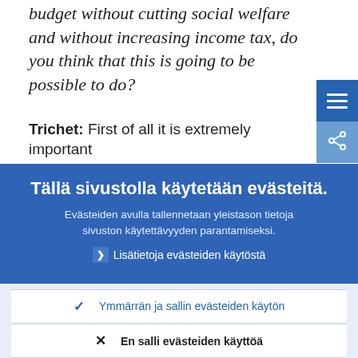budget without cutting social welfare and without increasing income tax, do you think that this is going to be possible to do?
Trichet: First of all it is extremely important that the...
Tällä sivustolla käytetään evästeitä.
Evästeiden avulla tallennetaan yleistason tietoja sivuston käytettävyyden parantamiseksi.
Lisätietoja evästeiden käytöstä
Ymmärrän ja sallin evästeiden käytön
En salli evästeiden käyttöä